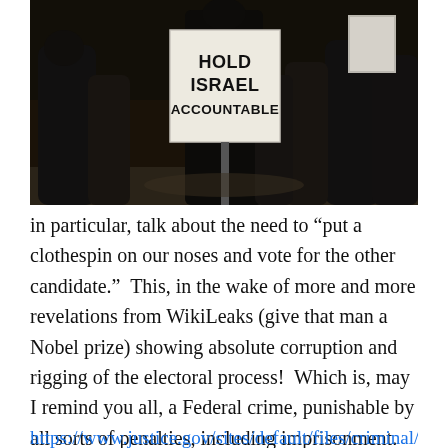[Figure (photo): Nighttime protest photo showing people in dark clothing, one holding a sign reading 'HOLD ISRAEL ACCOUNTABLE']
in particular, talk about the need to “put a clothespin on our noses and vote for the other candidate.”  This, in the wake of more and more revelations from WikiLeaks (give that man a Nobel prize) showing absolute corruption and rigging of the electoral process!  Which is, may I remind you all, a Federal crime, punishable by all sorts of penalties, including imprisonment.  See, for example, what I posted yesterday:  Federal Prosecution of Election Offenses, from the website of the Department of Justice:
https://www.justice.gov/sites/default/files/criminal/legacy/2